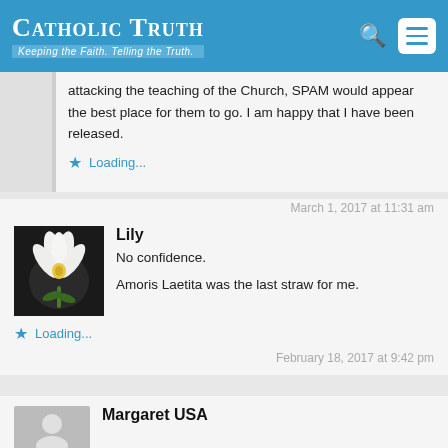Catholic Truth — Keeping the Faith. Telling the Truth.
attacking the teaching of the Church, SPAM would appear the best place for them to go. I am happy that I have been released.
Loading...
March 1, 2017 at 11:31 am
Lily
No confidence.
Amoris Laetita was the last straw for me.
Loading...
February 18, 2017 at 9:42 pm
Margaret USA